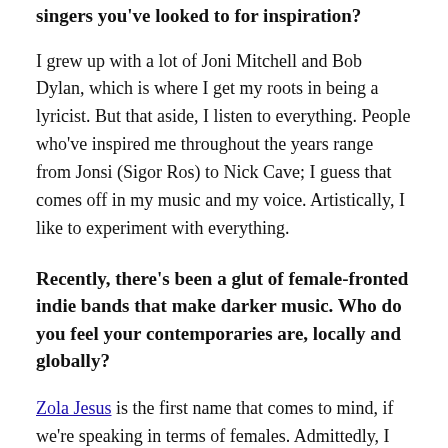singers you've looked to for inspiration?
I grew up with a lot of Joni Mitchell and Bob Dylan, which is where I get my roots in being a lyricist. But that aside, I listen to everything. People who've inspired me throughout the years range from Jonsi (Sigor Ros) to Nick Cave; I guess that comes off in my music and my voice. Artistically, I like to experiment with everything.
Recently, there's been a glut of female-fronted indie bands that make darker music. Who do you feel your contemporaries are, locally and globally?
Zola Jesus is the first name that comes to mind, if we're speaking in terms of females. Admittedly, I can't say there are many other